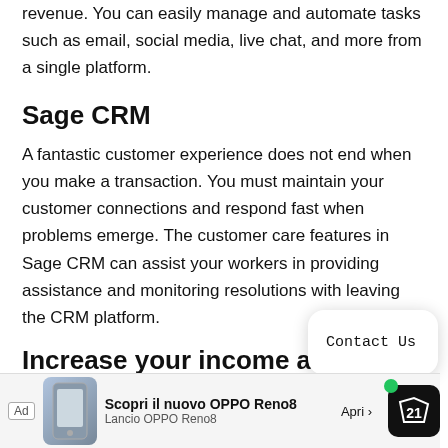revenue. You can easily manage and automate tasks such as email, social media, live chat, and more from a single platform.
Sage CRM
A fantastic customer experience does not end when you make a transaction. You must maintain your customer connections and respond fast when problems emerge. The customer care features in Sage CRM can assist your workers in providing assistance and monitoring resolutions with leaving the CRM platform.
Increase your income and profital
CRM systems enhance income by simplifying corporate